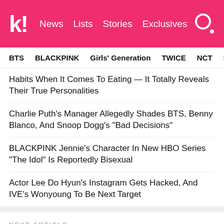Koreaboo | News | Lists | Stories | Exclusives
BTS  BLACKPINK  Girls' Generation  TWICE  NCT  SEVE
Habits When It Comes To Eating — It Totally Reveals Their True Personalities
Charlie Puth's Manager Allegedly Shades BTS, Benny Blanco, And Snoop Dogg's "Bad Decisions"
BLACKPINK Jennie's Character In New HBO Series "The Idol" Is Reportedly Bisexual
Actor Lee Do Hyun's Instagram Gets Hacked, And IVE's Wonyoung To Be Next Target
NEXT ARTICLE
BTS Drops Hints About The Upcoming Album For